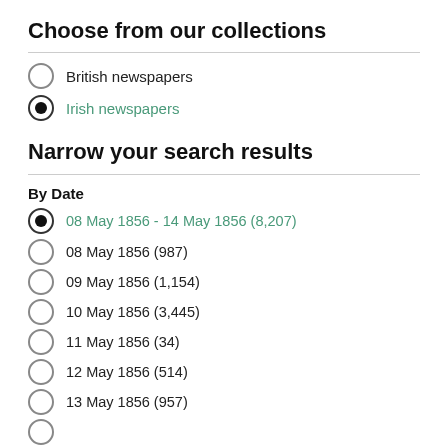Choose from our collections
British newspapers
Irish newspapers
Narrow your search results
By Date
08 May 1856 - 14 May 1856 (8,207)
08 May 1856 (987)
09 May 1856 (1,154)
10 May 1856 (3,445)
11 May 1856 (34)
12 May 1856 (514)
13 May 1856 (957)